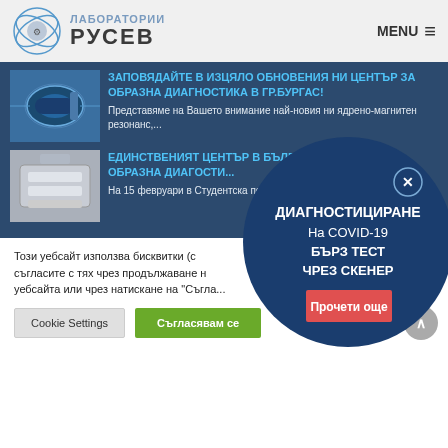[Figure (logo): Лаборатории Русев logo with circular atom-like icon and text]
MENU ≡
[Figure (photo): MRI scanner machine in blue-lit room]
ЗАПОВЯДАЙТЕ В ИЗЦЯЛО ОБНОВЕНИЯ НИ ЦЕНТЪР ЗА ОБРАЗНА ДИАГНОСТИКА В ГР.БУРГАС!
Представяме на Вашето внимание най-новия ни ядрено-магнитен резонанс,...
[Figure (photo): Medical imaging equipment, white scanner]
ЕДИНСТВЕНИЯТ ЦЕНТЪР В БЪЛГАРИЯ ИЗЦЯЛО ЗА ОБРАЗНА ДИАГНОСТИ...
На 15 февруари в Студентска по...
[Figure (infographic): Dark blue circle popup with COVID-19 diagnostics information]
ДИАГНОСТИЦИРАНЕ
На COVID-19
БЪРЗ ТЕСТ
ЧРЕЗ СКЕНЕР
Прочети още
Този уебсайт използва бисквитки (с... съгласите с тях чрез продължаване н... уебсайта или чрез натискане на "Съгла...
Cookie Settings
Съгласявам се